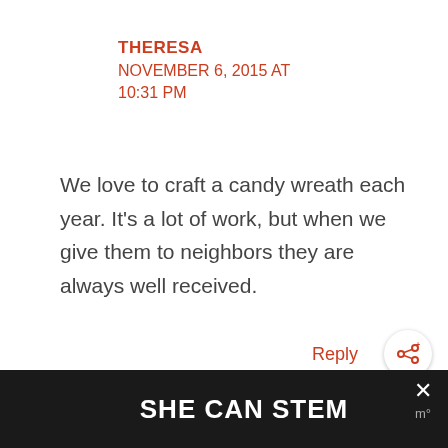THERESA
NOVEMBER 6, 2015 AT 10:31 PM
We love to craft a candy wreath each year. It's a lot of work, but when we give them to neighbors they are always well received.
Reply
SHE CAN STEM